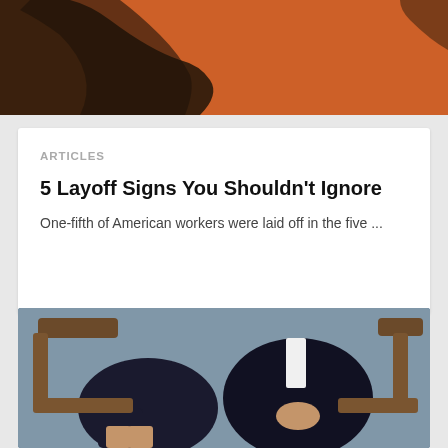[Figure (photo): Top portion of an article card showing an orange/rust background with a dark abstract shape, likely part of a bird or graphic illustration.]
ARTICLES
5 Layoff Signs You Shouldn't Ignore
One-fifth of American workers were laid off in the five ...
[Figure (photo): Photo of two people in business attire (man in dark suit and woman in dark dress/skirt) seated in leather chairs, viewed from neck down, with a blue-gray background.]